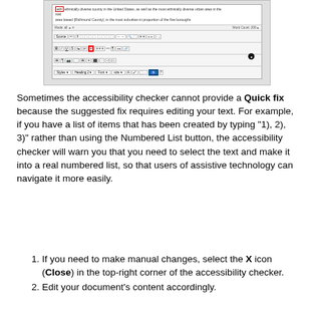[Figure (screenshot): Screenshot of a word processor toolbar/editor interface with toolbars showing formatting options and a highlighted button in the top-right area of the toolbar marked with a circle indicator.]
Sometimes the accessibility checker cannot provide a Quick fix because the suggested fix requires editing your text. For example, if you have a list of items that has been created by typing "1), 2), 3)" rather than using the Numbered List button, the accessibility checker will warn you that you need to select the text and make it into a real numbered list, so that users of assistive technology can navigate it more easily.
If you need to make manual changes, select the X icon (Close) in the top-right corner of the accessibility checker.
Edit your document's content accordingly.